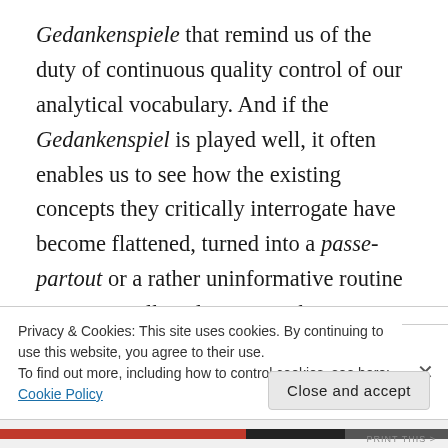Gedankenspiele that remind us of the duty of continuous quality control of our analytical vocabulary. And if the Gedankenspiel is played well, it often enables us to see how the existing concepts they critically interrogate have become flattened, turned into a passe-partout or a rather uninformative routine gesture in talk and writing. Chronotope invites us to critically check the ways in which we use the term “context” in a wide range of disciplines within the study of language in society. If, in the end, the community of peers in this discipline decide that
Privacy & Cookies: This site uses cookies. By continuing to use this website, you agree to their use.
To find out more, including how to control cookies, see here: Cookie Policy
Close and accept